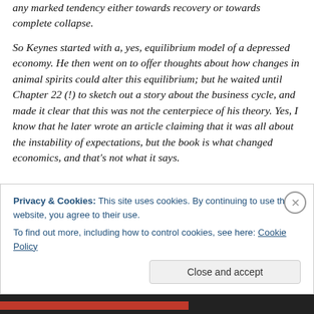any marked tendency either towards recovery or towards complete collapse.
So Keynes started with a, yes, equilibrium model of a depressed economy. He then went on to offer thoughts about how changes in animal spirits could alter this equilibrium; but he waited until Chapter 22 (!) to sketch out a story about the business cycle, and made it clear that this was not the centerpiece of his theory. Yes, I know that he later wrote an article claiming that it was all about the instability of expectations, but the book is what changed economics, and that's not what it says.
Privacy & Cookies: This site uses cookies. By continuing to use this website, you agree to their use.
To find out more, including how to control cookies, see here: Cookie Policy